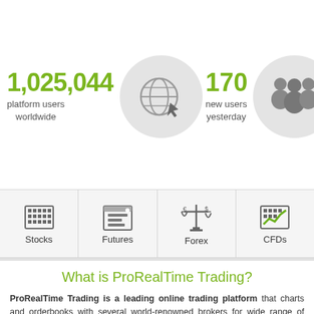1,025,044
platform users worldwide
170
new users yesterday
311
financial ins
Stocks
Futures
Forex
CFDs
What is ProRealTime Trading?
ProRealTime Trading is a leading online trading platform that charts and orderbooks with several world-renowned brokers for wide range of markets.
ProRealTime is also used by Professional and Non-Professional quality charts, powerful decision support tools and reliable market
Top 10 reasons to choose ProRealTime Tra